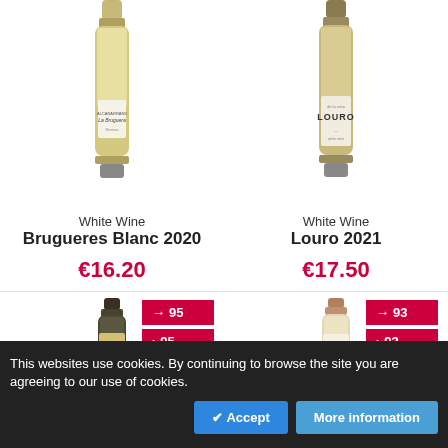[Figure (photo): White wine bottle - Brugueres Blanc 2020]
[Figure (photo): White wine bottle - Louro 2021]
White Wine
Brugueres Blanc 2020
€16.20
White Wine
Louro 2021
€17.50
[Figure (photo): Dark wine bottle (partial, bottom row left)]
[Figure (photo): Light wine bottle (partial, bottom row right)]
→ 95
› 95
→ 93
› 93
This websites use cookies. By continuing to browse the site you are agreeing to our use of cookies.